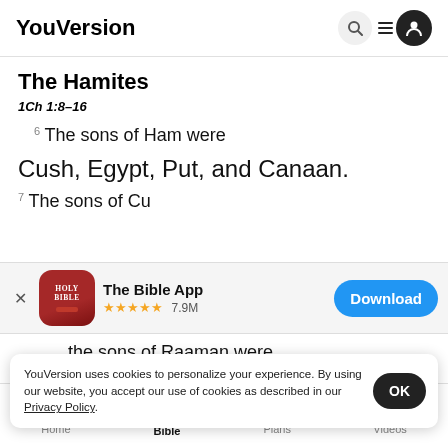YouVersion
The Hamites
1Ch 1:8–16
6 The sons of Ham were
Cush, Egypt, Put, and Canaan.
[Figure (screenshot): App install banner for The Bible App with Holy Bible icon, 5 star rating 7.9M reviews, and Download button]
the sons of Raaman were
Sheb
8 Cus
YouVersion uses cookies to personalize your experience. By using our website, you accept our use of cookies as described in our Privacy Policy.
Home  Bible  Plans  Videos